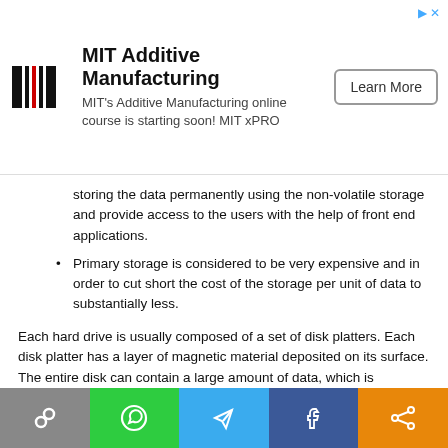[Figure (other): MIT Additive Manufacturing advertisement banner with MIT logo, course description text, and Learn More button]
storing the data permanently using the non-volatile storage and provide access to the users with the help of front end applications.
Primary storage is considered to be very expensive and in order to cut short the cost of the storage per unit of data to substantially less.
Each hard drive is usually composed of a set of disk platters. Each disk platter has a layer of magnetic material deposited on its surface. The entire disk can contain a large amount of data, which is organised into smaller packages called BLOCKS (or pages). On most computers, one block is equivalent to 1 KB of data (≈ 1024 Bytes).
[Figure (other): Social media sharing bar with link, WhatsApp, Telegram, Facebook, and share icons]